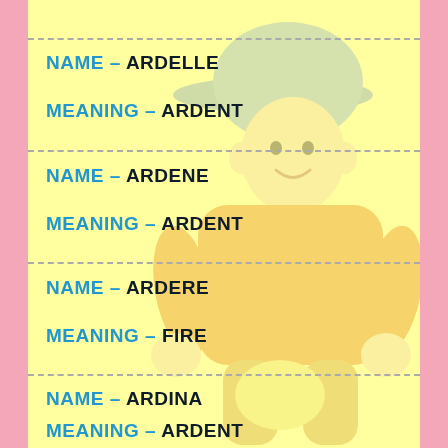NAME – ARDELLE
MEANING – ARDENT
NAME – ARDENE
MEANING – ARDENT
NAME – ARDERE
MEANING – FIRE
NAME – ARDINA
MEANING – ARDENT